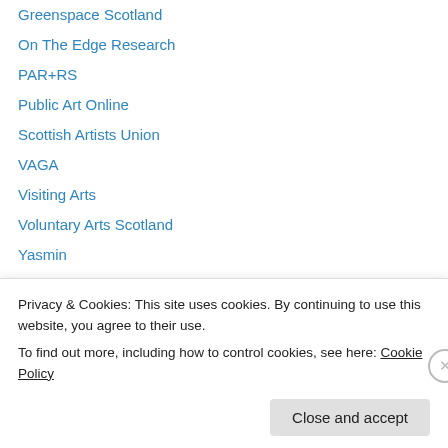Greenspace Scotland
On The Edge Research
PAR+RS
Public Art Online
Scottish Artists Union
VAGA
Visiting Arts
Voluntary Arts Scotland
Yasmin
Time travel
Select Month
Privacy & Cookies: This site uses cookies. By continuing to use this website, you agree to their use.
To find out more, including how to control cookies, see here: Cookie Policy
Close and accept